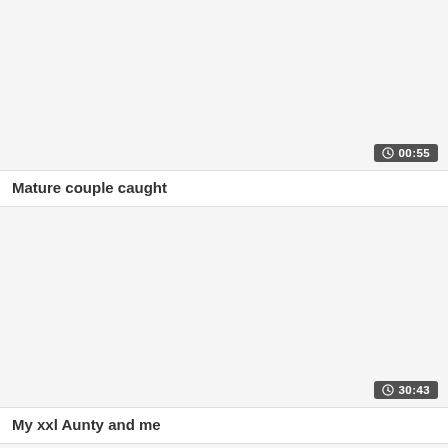[Figure (screenshot): Video thumbnail placeholder (light gray background) for first card]
00:55
Mature couple caught
[Figure (screenshot): Video thumbnail placeholder (light gray background) for second card]
30:43
My xxl Aunty and me
[Figure (screenshot): Partial third card thumbnail area with scroll-to-top button]